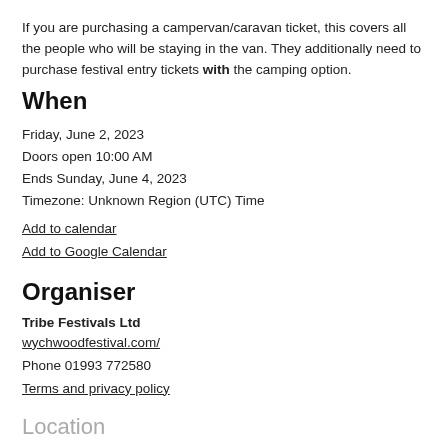If you are purchasing a campervan/caravan ticket, this covers all the people who will be staying in the van. They additionally need to purchase festival entry tickets with the camping option.
When
Friday, June 2, 2023
Doors open 10:00 AM
Ends Sunday, June 4, 2023
Timezone: Unknown Region (UTC) Time
Add to calendar
Add to Google Calendar
Organiser
Tribe Festivals Ltd
wychwoodfestival.com/
Phone 01993 772580
Terms and privacy policy
Location
Cheltenham Racecourse
Racecourse Way, Cheltenham, GL50 4SH United Kingdom